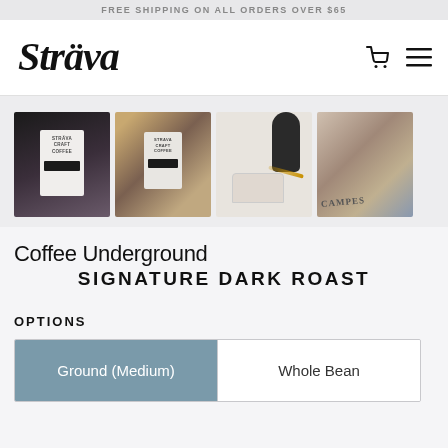FREE SHIPPING ON ALL ORDERS OVER $65
[Figure (logo): Sträva craft coffee logo in italic script]
[Figure (photo): Four product photos: Sträva Craft Coffee bag, coffee bag with beans, coffee being poured into cup, Campesino label]
Coffee Underground
SIGNATURE DARK ROAST
OPTIONS
Ground (Medium)
Whole Bean